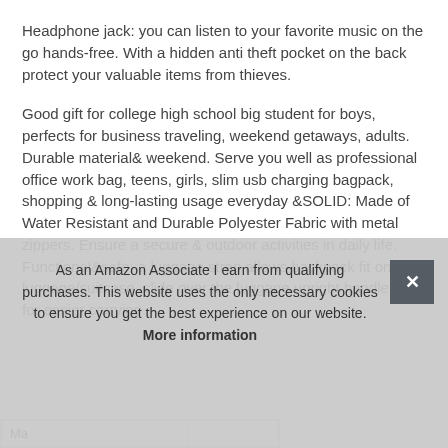Headphone jack: you can listen to your favorite music on the go hands-free. With a hidden anti theft pocket on the back protect your valuable items from thieves.
Good gift for college high school big student for boys, perfects for business traveling, weekend getaways, adults. Durable material& weekend. Serve you well as professional office work bag, teens, girls, slim usb charging bagpack, shopping & long-lasting usage everyday &SOLID: Made of Water Resistant and Durable Polyester Fabric with metal zippers. Ensure a secure & outdoor activities in daily life. Functional&safe: a luggage strap allows backpack fit on luggage/suitcase, slide over the luggage upright handle tube for easier carrying.
As an Amazon Associate I earn from qualifying purchases. This website uses the only necessary cookies to ensure you get the best experience on our website. More information